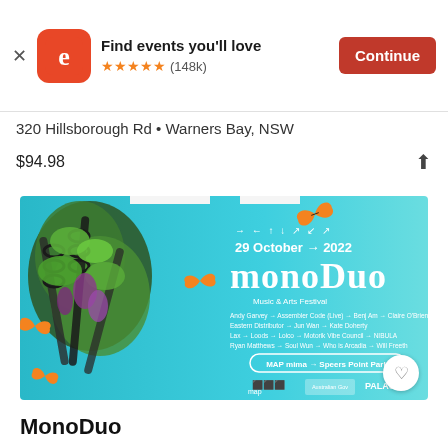Find events you'll love ★★★★★ (148k) Continue
320 Hillsborough Rd • Warners Bay, NSW
$94.98
[Figure (illustration): MonoDuo Music & Arts Festival promotional poster. Teal/blue background with a mossy chain sculpture and monarch butterflies on the left. Text reads: arrows symbol, 29 October → 2022, MonoDuo, Music & Arts Festival. Artist lineup: Andy Garvey → Assembler Code (Live) → Benj Am → Claire O'Brien, Eastern Distributor → Jun Wan → Kate Doherty, Lax → Loods → Loico → Motorik Vibe Council → NIBULA, Ryan Matthews → Soul Wun → Who is Arcadia → Will Freeth. MAP mima → Speers Point Park. Logos: MAP, Australian Government, PALACE_. Heart/favorite button in bottom right corner.]
MonoDuo